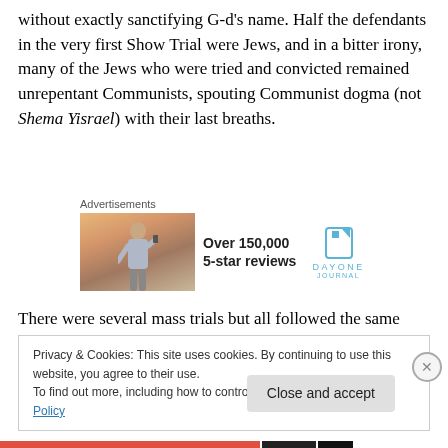without exactly sanctifying G-d's name. Half the defendants in the very first Show Trial were Jews, and in a bitter irony, many of the Jews who were tried and convicted remained unrepentant Communists, spouting Communist dogma (not Shema Yisrael) with their last breaths.
[Figure (advertisement): Day One Journal advertisement with person photographing sunset, text: Over 150,000 5-star reviews, DAYONE JOURNAL logo]
There were several mass trials but all followed the same
Privacy & Cookies: This site uses cookies. By continuing to use this website, you agree to their use.
To find out more, including how to control cookies, see here: Cookie Policy
Close and accept